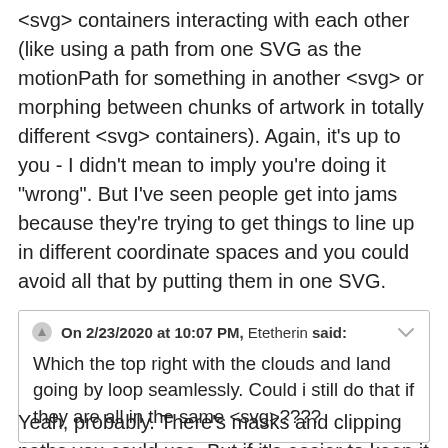<svg> containers interacting with each other (like using a path from one SVG as the motionPath for something in another <svg> or morphing between chunks of artwork in totally different <svg> containers). Again, it's up to you - I didn't mean to imply you're doing it "wrong". But I've seen people get into jams because they're trying to get things to line up in different coordinate spaces and you could avoid all that by putting them in one SVG.
On 2/23/2020 at 10:07 PM, Etetherin said:
Which the top right with the clouds and land going by loop seamlessly. Could i still do that if they are all in the same <svg>????
Yeah, probably. There's masks and clipping paths you could use. But if it's easier to keep it in a